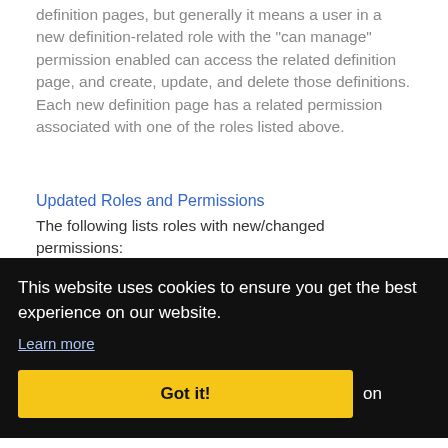There may be slight feature variations between definition pages, but generally it means a user in a new definition-related role with the "can manage" permission enabled can access the related definition page, and create, update, and delete those definitions. Each new definition page has a related permission associated with one of the roles listed above.
Updated Roles and Permissions
The following lists roles with new/changed permissions:
This website uses cookies to ensure you get the best experience on our website.
Learn more
Got it!
on
Definitions role.